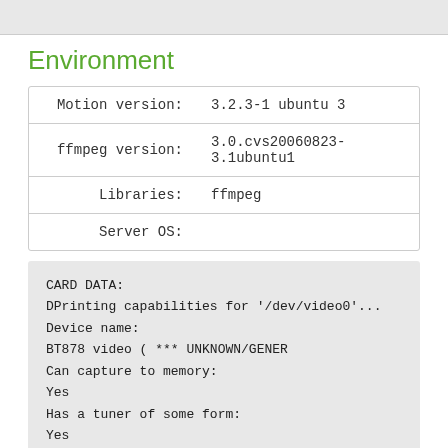Environment
|  |  |
| --- | --- |
| Motion version: | 3.2.3-1 ubuntu 3 |
| ffmpeg version: | 3.0.cvs20060823-3.1ubuntu1 |
| Libraries: | ffmpeg |
| Server OS: |  |
CARD DATA:
DPrinting capabilities for '/dev/video0'...
Device name:
BT878 video ( *** UNKNOWN/GENER
Can capture to memory:
Yes
Has a tuner of some form:
Yes
Has teletext capability: